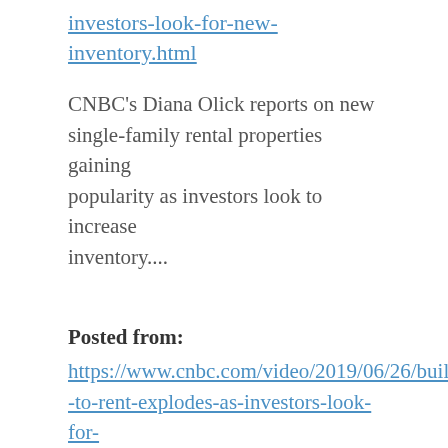investors-look-for-new-inventory.html
CNBC's Diana Olick reports on new single-family rental properties gaining popularity as investors look to increase inventory....
Posted from:
https://www.cnbc.com/video/2019/06/26/build-to-rent-explodes-as-investors-look-for-new-inventory.html
CNBC's Diana Olick reports on new single-family rental properties gaining popularity as